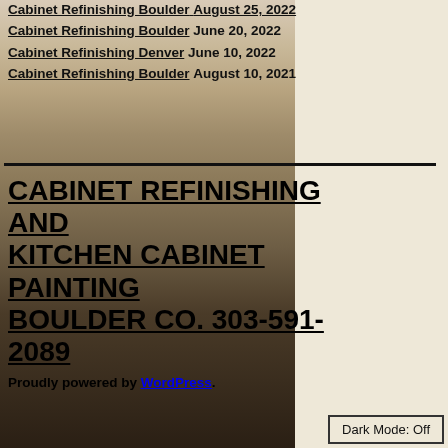Cabinet Refinishing Boulder August 25, 2022
Cabinet Refinishing Boulder June 20, 2022
Cabinet Refinishing Denver June 10, 2022
Cabinet Refinishing Boulder August 10, 2021
[Figure (photo): Kitchen with white cabinets and dark hardwood floors]
CABINET REFINISHING AND KITCHEN CABINET PAINTING BOULDER CO. 303-591-2089
Proudly powered by WordPress.
Dark Mode: Off